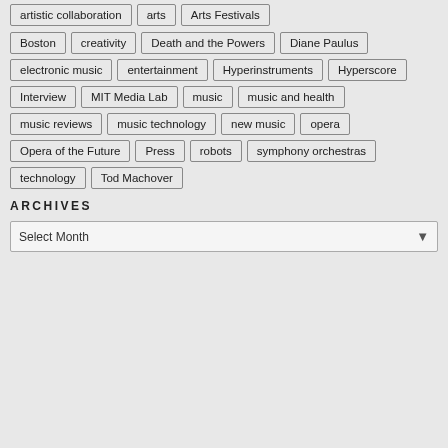artistic collaboration
arts
Arts Festivals
Boston
creativity
Death and the Powers
Diane Paulus
electronic music
entertainment
Hyperinstruments
Hyperscore
Interview
MIT Media Lab
music
music and health
music reviews
music technology
new music
opera
Opera of the Future
Press
robots
symphony orchestras
technology
Tod Machover
ARCHIVES
Select Month